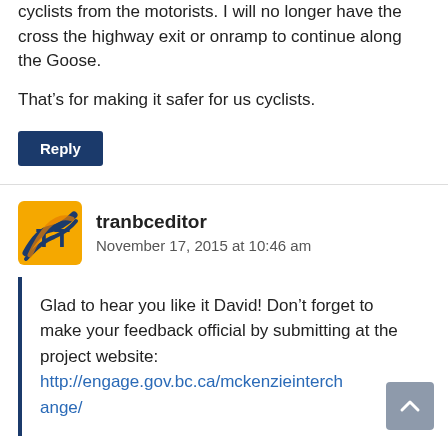cyclists from the motorists. I will no longer have the cross the highway exit or onramp to continue along the Goose.
That’s for making it safer for us cyclists.
Reply
tranbceditor
November 17, 2015 at 10:46 am
Glad to hear you like it David! Don’t forget to make your feedback official by submitting at the project website: http://engage.gov.bc.ca/mckenzieinterchange/